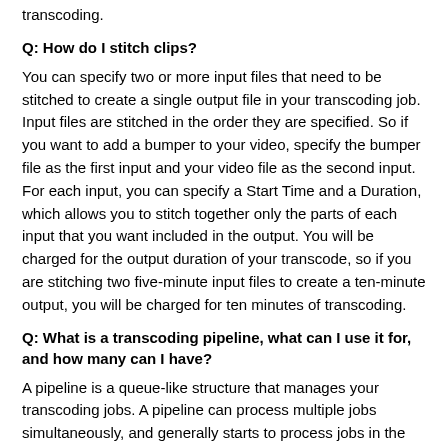transcoding.
Q: How do I stitch clips?
You can specify two or more input files that need to be stitched to create a single output file in your transcoding job. Input files are stitched in the order they are specified. So if you want to add a bumper to your video, specify the bumper file as the first input and your video file as the second input. For each input, you can specify a Start Time and a Duration, which allows you to stitch together only the parts of each input that you want included in the output. You will be charged for the output duration of your transcode, so if you are stitching two five-minute input files to create a ten-minute output, you will be charged for ten minutes of transcoding.
Q: What is a transcoding pipeline, what can I use it for, and how many can I have?
A pipeline is a queue-like structure that manages your transcoding jobs. A pipeline can process multiple jobs simultaneously, and generally starts to process jobs in the order in which you added them to the pipeline. Jobs often finish in a different order based on